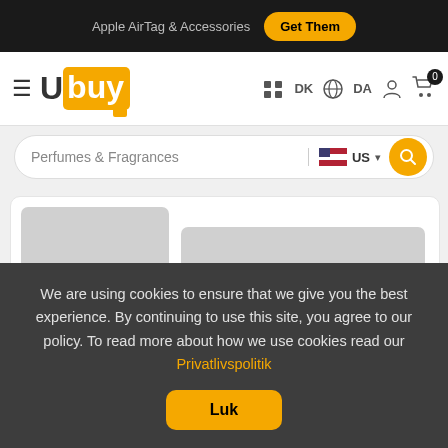Apple AirTag & Accessories  Get Them
[Figure (screenshot): Ubuy e-commerce website navigation bar with logo, DK language selector, DA option, user icon, and cart icon with badge 0]
[Figure (screenshot): Search bar with text 'Perfumes & Fragrances', US flag country selector dropdown, and orange search button]
[Figure (screenshot): Loading skeleton placeholder cards showing two product listing items with grey image and text placeholder blocks]
We are using cookies to ensure that we give you the best experience. By continuing to use this site, you agree to our policy. To read more about how we use cookies read our Privatlivspolitik
Luk